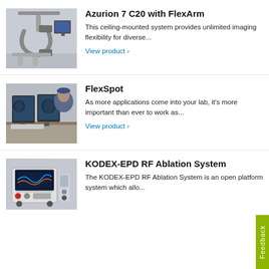Azurion 7 C20 with FlexArm
This ceiling-mounted system provides unlimited imaging flexibility for diverse...
View product ›
FlexSpot
As more applications come into your lab, it's more important than ever to work as...
View product ›
KODEX-EPD RF Ablation System
The KODEX-EPD RF Ablation System is an open platform system which allo...